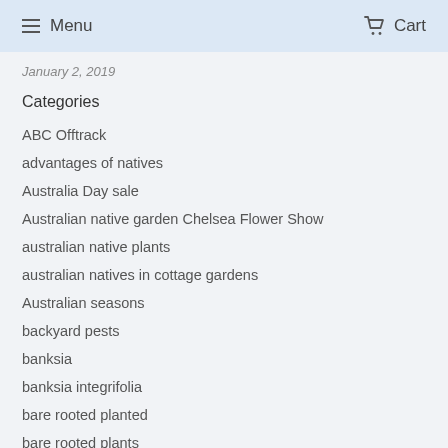Menu  Cart
January 2, 2019
Categories
ABC Offtrack
advantages of natives
Australia Day sale
Australian native garden Chelsea Flower Show
australian native plants
australian natives in cottage gardens
Australian seasons
backyard pests
banksia
banksia integrifolia
bare rooted planted
bare rooted plants
bee attracting plants